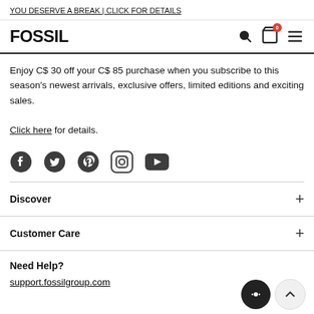YOU DESERVE A BREAK | CLICK FOR DETAILS
FOSSIL
Enjoy C$ 30 off your C$ 85 purchase when you subscribe to this season's newest arrivals, exclusive offers, limited editions and exciting sales.

Click here for details.
[Figure (infographic): Social media icons row: Facebook, Twitter, Pinterest, Instagram, YouTube]
Discover
Customer Care
Need Help?
support.fossilgroup.com